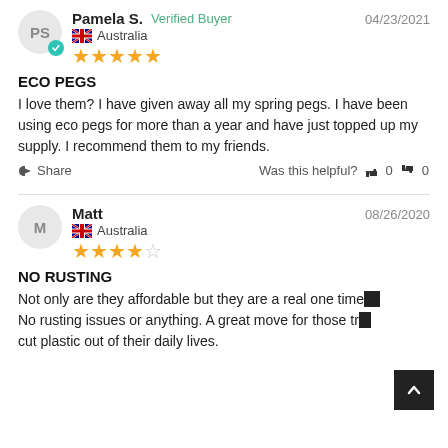Pamela S. — Verified Buyer — 04/23/2021 — Australia — ★★★★★
ECO PEGS
I love them? I have given away all my spring pegs. I have been using eco pegs for more than a year and have just topped up my supply. I recommend them to my friends.
Share — Was this helpful? 👍 0 👎 0
Matt — 08/26/2020 — Australia — ★★★★☆
NO RUSTING
Not only are they affordable but they are a real one time... No rusting issues or anything. A great move for those tr... cut plastic out of their daily lives.